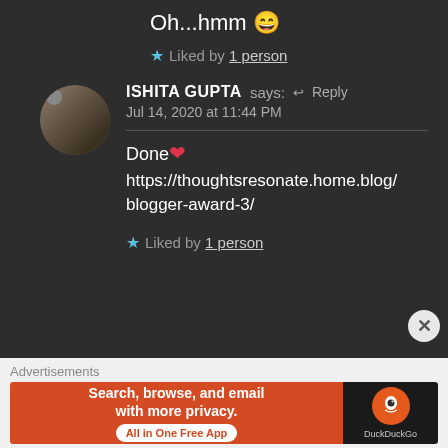Oh...hmm 😄
★ Liked by 1 person
ISHITA GUPTA says: ↩ Reply
Jul 14, 2020 at 11:44 PM
Done❤ https://thoughtsresonate.home.blog/blogger-award-3/
★ Liked by 1 person
Advertisements
[Figure (screenshot): DuckDuckGo advertisement banner: Search, browse, and email with more privacy. All in One Free App.]